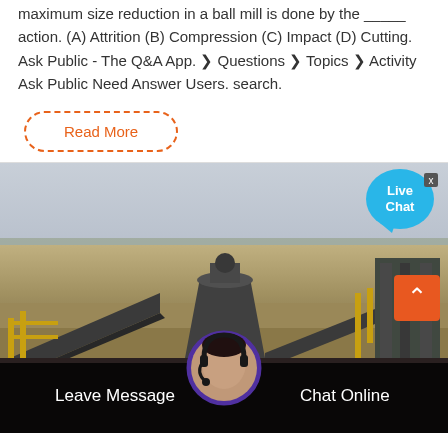maximum size reduction in a ball mill is done by the _____ action. (A) Attrition (B) Compression (C) Impact (D) Cutting. Ask Public - The Q&A App. ❯ Questions ❯ Topics ❯ Activity Ask Public Need Answer Users. search.
[Figure (other): Read More button with dashed orange border]
[Figure (photo): Aerial view of a mining/quarrying site with conveyor belts, crushers, and industrial equipment in a rocky desert landscape. A Live Chat bubble is visible in the top right corner.]
Leave Message
Chat Online